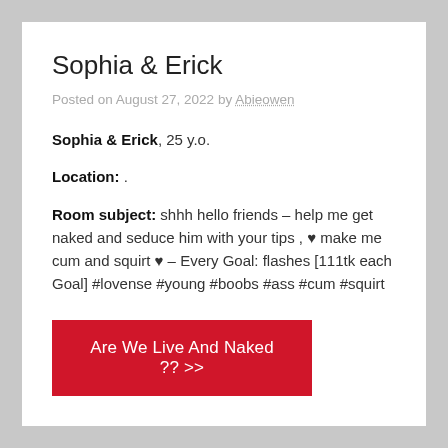Sophia & Erick
Posted on August 27, 2022 by Abieowen
Sophia & Erick, 25 y.o.
Location: .
Room subject: shhh hello friends – help me get naked and seduce him with your tips , ♥ make me cum and squirt ♥ – Every Goal: flashes [111tk each Goal] #lovense #young #boobs #ass #cum #squirt
Are We Live And Naked ?? >>